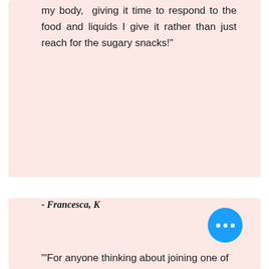my body,  giving it time to respond to the food and liquids I give it rather than just reach for the sugary snacks!"
- Francesca, K
"'For anyone thinking about joining one of